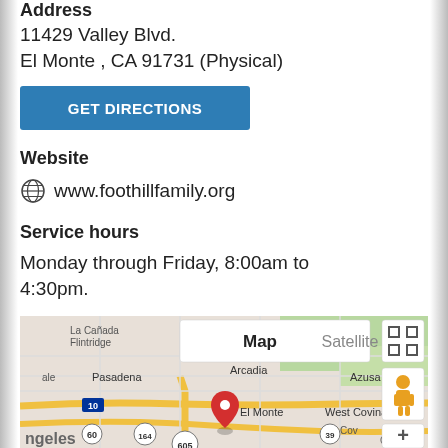Address
11429 Valley Blvd.
El Monte , CA 91731 (Physical)
GET DIRECTIONS
Website
www.foothillfamily.org
Service hours
Monday through Friday, 8:00am to 4:30pm.
[Figure (map): Google Map showing El Monte, CA area with a red location pin marker. Map/Satellite toggle visible at top. Shows Pasadena, Arcadia, Azusa, El Monte, West Covina, City of Industry labels. Street view pegman icon and zoom + button visible.]